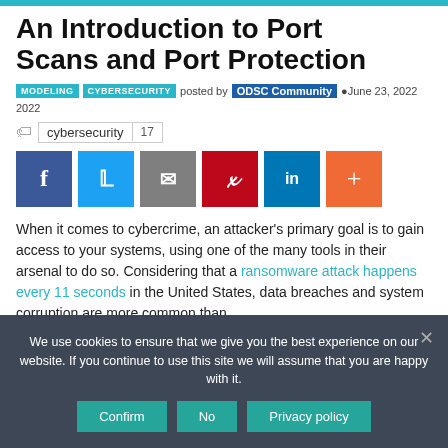An Introduction to Port Scans and Port Protection
MODELING  CYBERSECURITY  posted by ODSC Community  June 23, 2022
cybersecurity  17
[Figure (infographic): Row of social sharing buttons: Facebook (blue), Twitter (light blue), Email (gray), Pinterest (red), LinkedIn (blue), Plus/share (orange)]
When it comes to cybercrime, an attacker's primary goal is to gain access to your systems, using one of the many tools in their arsenal to do so. Considering that a ransomware attack happens every 11 seconds in the United States, data breaches and system corruption are more common than
We use cookies to ensure that we give you the best experience on our website. If you continue to use this site we will assume that you are happy with it.
Confirm  No  Privacy policy